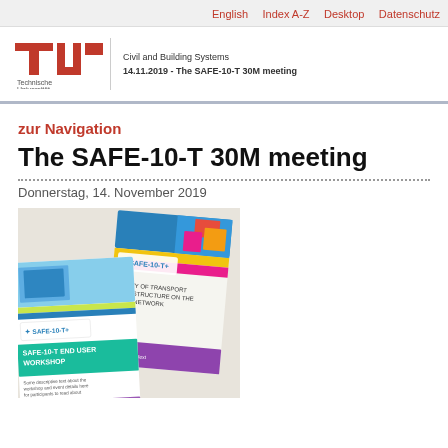English  Index A-Z  Desktop  Datenschutz
[Figure (logo): TU Berlin (Technische Universität Berlin) red logo with stylized T and U marks]
Civil and Building Systems
14.11.2019 - The SAFE-10-T 30M meeting
zur Navigation
The SAFE-10-T 30M meeting
Donnerstag, 14. November 2019
[Figure (photo): Photo of two SAFE-10-T brochures/flyers laid on a light surface. One shows 'SAFE-10-T END USER WORKSHOP' text and the other shows 'SAFETY OF TRANSPORT INFRASTRUCTURE ON THE TEN-T NETWORK' with colorful design including yellow, blue, and pink sections with SAFE-10-T logo.]